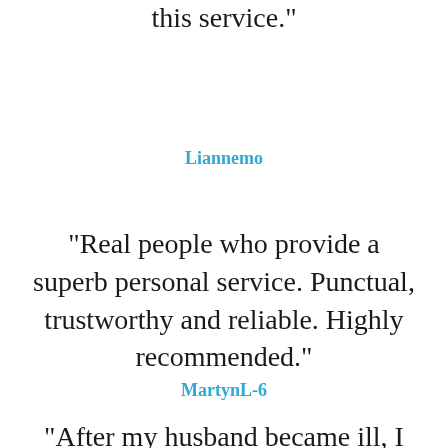this service."
Liannemo
"Real people who provide a superb personal service. Punctual, trustworthy and reliable. Highly recommended."
MartynL-6
"After my husband became ill, I found